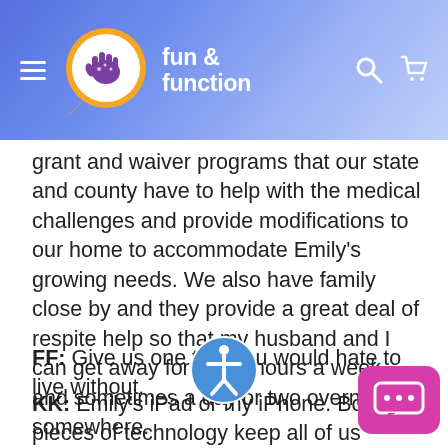fun & function
grant and waiver programs that our state and county have to help with the medical challenges and provide modifications to our home to accommodate Emily’s growing needs. We also have family close by and they provide a great deal of respite help so that my husband and I can get away for a few hours a week and sometimes a day or two overnight somewhere.
FF: Give us one tool you would hate to live without.
KK: Emily’s iPad or my iPhone. Both pieces of technology keep all of us entertained especially when we are at the doctor’s office or hospital. The fact there are so many applications that can open up the